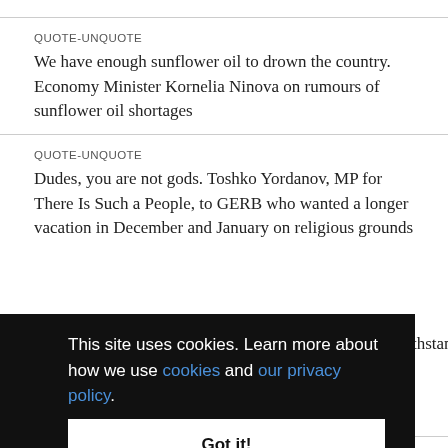QUOTE-UNQUOTE
We have enough sunflower oil to drown the country. Economy Minister Kornelia Ninova on rumours of sunflower oil shortages
QUOTE-UNQUOTE
Dudes, you are not gods. Toshko Yordanov, MP for There Is Such a People, to GERB who wanted a longer vacation in December and January on religious grounds
This site uses cookies. Learn more about how we use cookies and our privacy policy.
Got it!
QUOTE-UNQUOTE